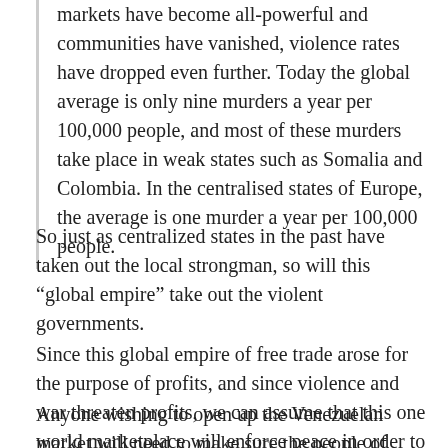markets have become all-powerful and communities have vanished, violence rates have dropped even further. Today the global average is only nine murders a year per 100,000 people, and most of these murders take place in weak states such as Somalia and Colombia. In the centralised states of Europe, the average is one murder a year per 100,000 people.
So just as centralized states in the past have taken out the local strongman, so will this “global empire” take out the violent governments.
Since this global empire of free trade arose for the purpose of profits, and since violence and war threaten profits, we can assume that this one world marketplace will enforce peace in order to protect profits.
Anyone wishing to open up the Venezuelan market will need to make sure the people of Venezuela are free enough to be rich